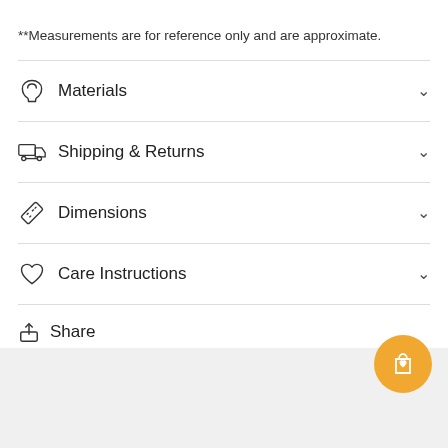**Measurements are for reference only and are approximate.
Materials
Shipping & Returns
Dimensions
Care Instructions
Share
[Figure (screenshot): Gray footer area with orange cart/wishlist floating action button]